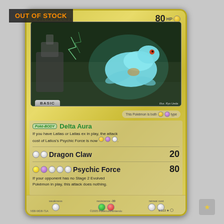[Figure (other): OUT OF STOCK overlay banner on a Pokemon trading card. Card shows Latios Delta Species (Delta Species symbol, 80 HP, metal/psychic type). Card art shows a glowing blue Latios over a city plaza background. Card is from EX Delta Species set. Basic stage. Poke-BODY: Delta Aura - If you have Latias or Latias ex in play, the attack cost of Latios's Psychic Force is now lightning, psychic, colorless. Dragon Claw attack costs 2 colorless, does 20 damage. Psychic Force costs lightning, psychic, colorless, colorless, colorless and does 80 damage - If your opponent has no Stage 2 Evolved Pokemon in play, this attack does nothing. Weakness: colorless, Resistance: -30 (green and red), Retreat cost: 2 colorless. Card number 9/113. Illustrated by Ryo Ueda. Copyright 2005 Pokemon/Nintendo. Set code N58-WD8-71A.]
OUT OF STOCK